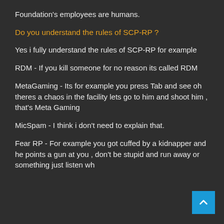Foundation's employees are humans.
Do you understand the rules of SCP-RP ?
Yes i fully understand the rules of SCP-RP for example
RDM - If you kill someone for no reason its called RDM
MetaGaming - Its for example you press Tab and see oh theres a chaos in the facility lets go to him and shoot him , that's Meta Gaming
MicSpam - I think i don't need to explain that.
Fear RP - For example you got cuffed by a kidnapper and he points a gun at you , don't be stupid and run away or something just listen wh...